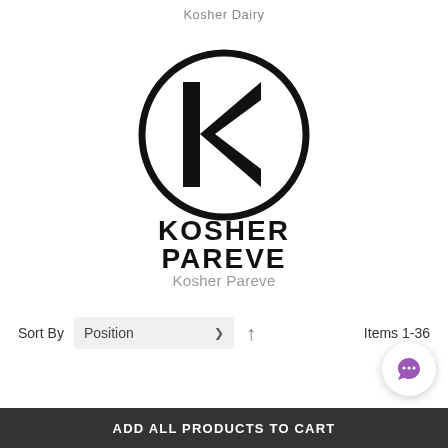Kosher Dairy
[Figure (logo): Kosher Pareve certification logo: a bold K inside a circle with text KOSHER PAREVE below]
Kosher Pareve
Sort By  Position  ↑  Items 1-36
[Figure (other): Purple chat bubble button (Tidio or similar live chat widget)]
ADD ALL PRODUCTS TO CART